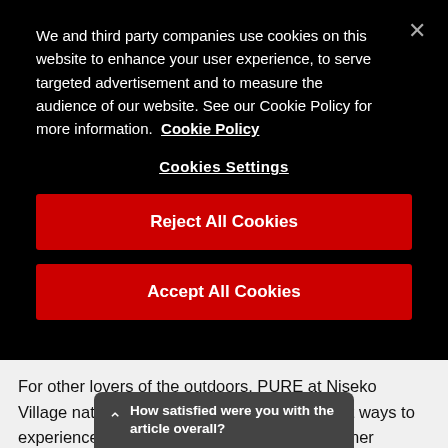We and third party companies use cookies on this website to enhance your user experience, to serve targeted advertisement and to measure the audience of our website. See our Cookie Policy for more information. Cookie Policy
Cookies Settings
Reject All Cookies
Accept All Cookies
For other lovers of the outdoors, PURE at Niseko Village nature activity centre is one of the best ways to experience Hokkaido during the warmer summer months. Lace up your hiking shoes and trek through the countryside in search of Hokkaido's famed wildlife, hop on a mountain bike or speed along a zip line!
How satisfied were you with the article overall?